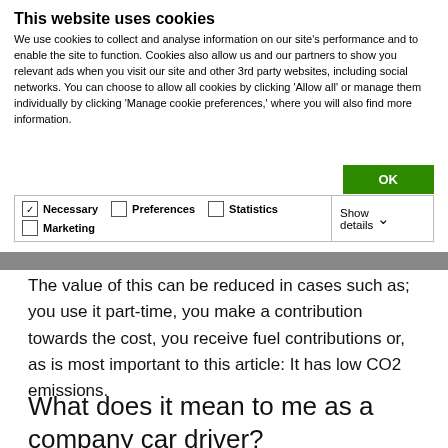This website uses cookies
We use cookies to collect and analyse information on our site's performance and to enable the site to function. Cookies also allow us and our partners to show you relevant ads when you visit our site and other 3rd party websites, including social networks. You can choose to allow all cookies by clicking 'Allow all' or manage them individually by clicking 'Manage cookie preferences,' where you will also find more information.
| ✓ Necessary | ☐ Preferences | ☐ Statistics | Show details ∨ |
| ☐ Marketing |  |  |  |
The value of this can be reduced in cases such as; you use it part-time, you make a contribution towards the cost, you receive fuel contributions or, as is most important to this article: It has low CO2 emissions.
What does it mean to me as a company car driver?